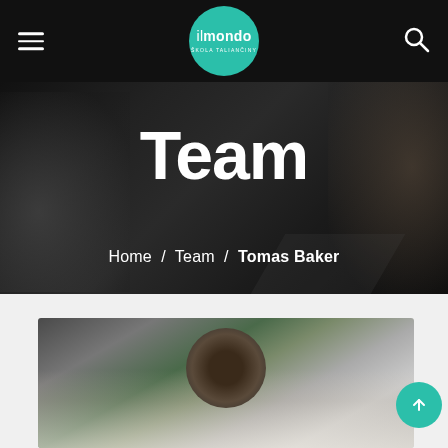ilmondo škola taliančiny — navigation header
Team
Home / Team / Tomas Baker
[Figure (photo): Partial photo of a person (Tomas Baker) at the bottom of the page, showing head/shoulders against a light background with a plant visible]